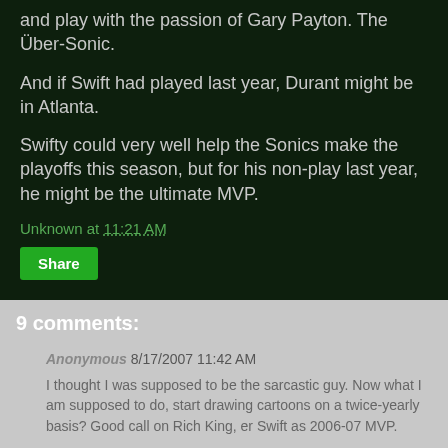and play with the passion of Gary Payton. The Über-Sonic.
And if Swift had played last year, Durant might be in Atlanta.
Swifty could very well help the Sonics make the playoffs this season, but for his non-play last year, he might be the ultimate MVP.
Unknown at 11:21 AM
Share
9 comments:
Anonymous 8/17/2007 11:42 AM
I thought I was supposed to be the sarcastic guy. Now what I am supposed to do, start drawing cartoons on a twice-yearly basis? Good call on Rich King, er Swift as 2006-07 MVP.
Reply